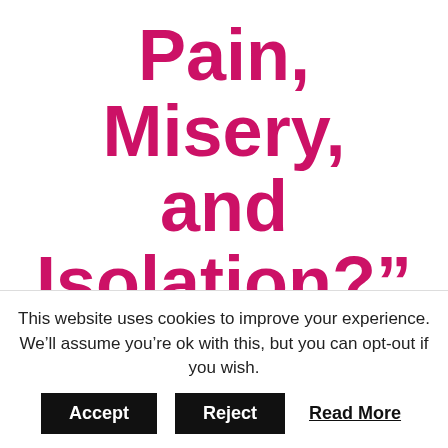Pain, Misery, and Isolation?”
World Renowned Doctors and
This website uses cookies to improve your experience. We’ll assume you’re ok with this, but you can opt-out if you wish.
Accept  Reject  Read More